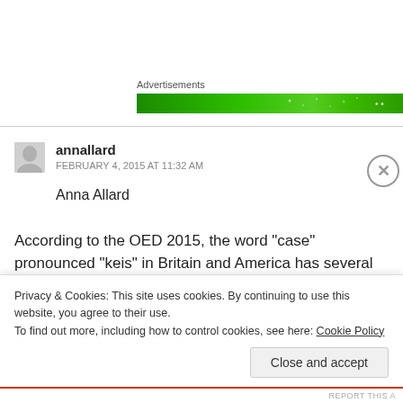Advertisements
[Figure (other): Green advertisement banner]
annallard
FEBRUARY 4, 2015 AT 11:32 AM
Anna Allard
According to the OED 2015, the word “case” pronounced “keis” in Britain and America has several different
Privacy & Cookies: This site uses cookies. By continuing to use this website, you agree to their use.
To find out more, including how to control cookies, see here: Cookie Policy
Close and accept